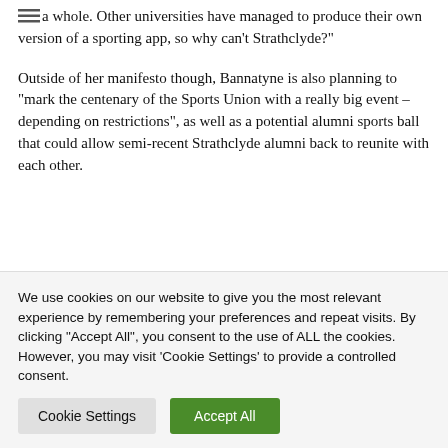a whole. Other universities have managed to produce their own version of a sporting app, so why can't Strathclyde?"
Outside of her manifesto though, Bannatyne is also planning to “mark the centenary of the Sports Union with a really big event – depending on restrictions", as well as a potential alumni sports ball that could allow semi-recent Strathclyde alumni back to reunite with each other.
We use cookies on our website to give you the most relevant experience by remembering your preferences and repeat visits. By clicking “Accept All", you consent to the use of ALL the cookies. However, you may visit 'Cookie Settings' to provide a controlled consent.